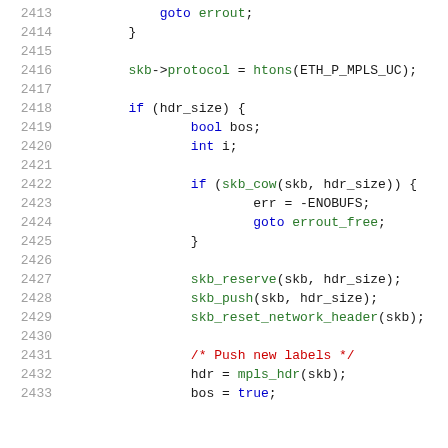Code listing lines 2413-2433, C source code
2413        goto errout;
2414    }
2415
2416        skb->protocol = htons(ETH_P_MPLS_UC);
2417
2418        if (hdr_size) {
2419                bool bos;
2420                int i;
2421
2422                if (skb_cow(skb, hdr_size)) {
2423                        err = -ENOBUFS;
2424                        goto errout_free;
2425                }
2426
2427                skb_reserve(skb, hdr_size);
2428                skb_push(skb, hdr_size);
2429                skb_reset_network_header(skb);
2430
2431                /* Push new labels */
2432                hdr = mpls_hdr(skb);
2433                bos = true;